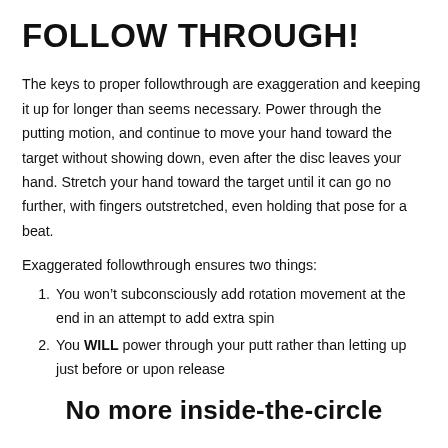FOLLOW THROUGH!
The keys to proper followthrough are exaggeration and keeping it up for longer than seems necessary. Power through the putting motion, and continue to move your hand toward the target without showing down, even after the disc leaves your hand. Stretch your hand toward the target until it can go no further, with fingers outstretched, even holding that pose for a beat.
Exaggerated followthrough ensures two things:
You won’t subconsciously add rotation movement at the end in an attempt to add extra spin
You WILL power through your putt rather than letting up just before or upon release
No more inside-the-circle